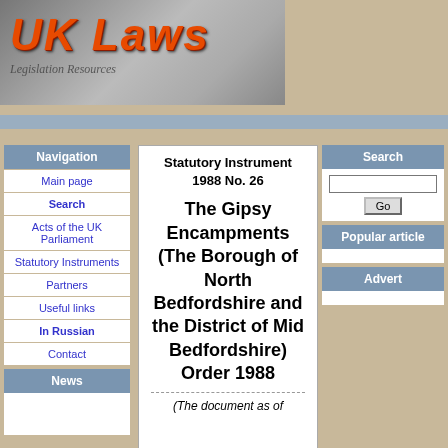[Figure (logo): UK Laws website banner logo with orange italic text 'UK Laws' on a grey background with guitar imagery]
Navigation
Main page
Search
Acts of the UK Parliament
Statutory Instruments
Partners
Useful links
In Russian
Contact
News
Statutory Instrument 1988 No. 26
The Gipsy Encampments (The Borough of North Bedfordshire and the District of Mid Bedfordshire) Order 1988
(The document as of
Search
Popular article
Advert